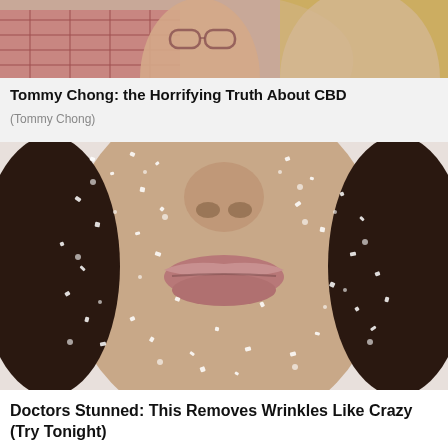[Figure (photo): Top portion of two people, one wearing a pink/red plaid shirt and glasses, another with blonde hair — cropped at forehead level]
Tommy Chong: the Horrifying Truth About CBD
(Tommy Chong)
[Figure (photo): Close-up of a face covered in sugar crystals or salt, showing nose, lips, and chin area against a light gray background]
Doctors Stunned: This Removes Wrinkles Like Crazy (Try Tonight)